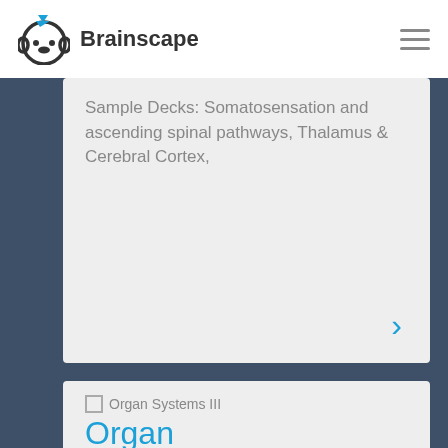Brainscape
Sample Decks: Somatosensation and ascending spinal pathways, Thalamus & Cerebral Cortex,
[Figure (screenshot): Organ Systems III thumbnail image placeholder]
Organ Systems III
FLASHCARD MAKER
DARCIE JUAREZ
174 Cards –